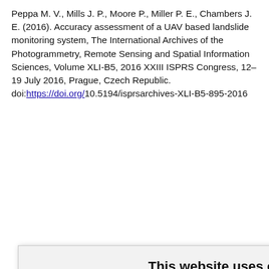Peppa M. V., Mills J. P., Moore P., Miller P. E., Chambers J. E. (2016). Accuracy assessment of a UAV based landslide monitoring system, The International Archives of the Photogrammetry, Remote Sensing and Spatial Information Sciences, Volume XLI-B5, 2016 XXIII ISPRS Congress, 12–19 July 2016, Prague, Czech Republic. doi:https://doi.org/10.5194/isprsarchives-XLI-B5-895-2016
... of the art of ... r High-resolution ... nal of Remote
[Figure (screenshot): Cookie consent popup dialog overlaying the page. Title: 'This website uses cookies'. Body text: 'This website uses cookies to improve user experience. By using our website you consent to all cookies in accordance with our Cookie Policy.' Three buttons: 'I agree' (green), 'I disagree' (dark red/burgundy), 'Read more' (gray). Footer: 'Free cookie consent by cookie-script.com']
... Landslide ... UAV. ISPRS - ... emote Sensing and Spatial Information Sciences, Volume XXXVIII-1/C22, 195-